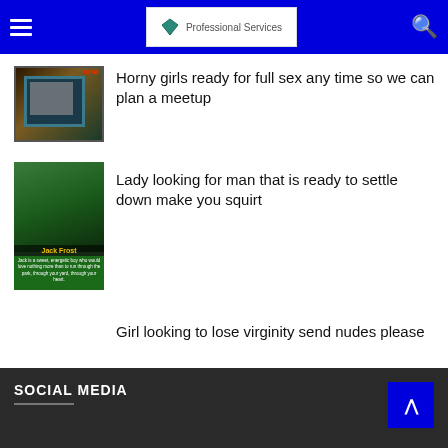Professional Services
[Figure (photo): Thumbnail image of a framed picture or electronic display device]
Horny girls ready for full sex any time so we can plan a meetup
[Figure (photo): Dog adoption flyer for Jack Frost - a pit bull type dog with text description]
Lady looking for man that is ready to settle down make you squirt
Girl looking to lose virginity send nudes please
SOCIAL MEDIA